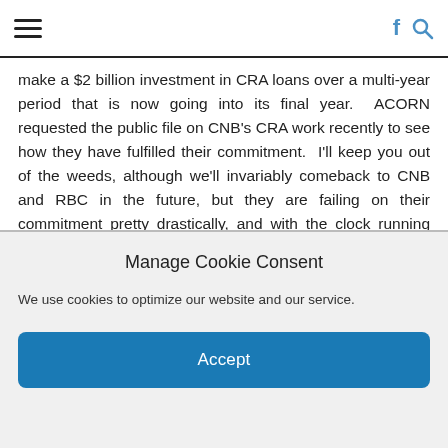Navigation bar with hamburger menu, Facebook icon, and search icon
make a $2 billion investment in CRA loans over a multi-year period that is now going into its final year.  ACORN requested the public file on CNB's CRA work recently to see how they have fulfilled their commitment.  I'll keep you out of the weeds, although we'll invariably comeback to CNB and RBC in the future, but they are failing on their commitment pretty drastically, and with the clock running out, it's hard to see how they would be able to pass muster without a miracle.  This is largely the case because from the numbers it appears that they have continued to not take loaning in lower income areas seriously.  They claim that they have made some big community development loans and they have purchased some community development loans.
Manage Cookie Consent
We use cookies to optimize our website and our service.
Accept